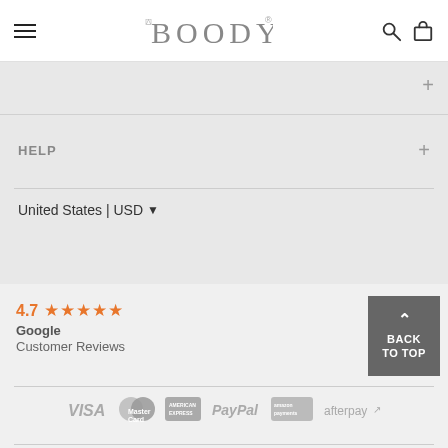BOODY
HELP
United States | USD
4.7 ★★★★★ Google Customer Reviews
[Figure (screenshot): BACK TO TOP button, dark gray square with upward chevron and text BACK TO TOP]
[Figure (infographic): Payment method logos: VISA, MasterCard, American Express, PayPal, Amazon Payments, afterpay]